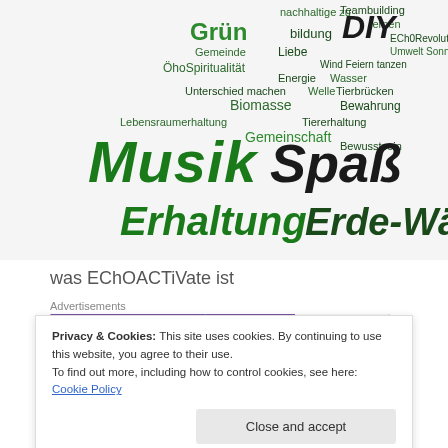[Figure (illustration): Word cloud in green and dark green colors featuring German words related to ecology, community, music, and sustainability. Large words include Musik, Spaß, Erhaltung, Erde-Wächter, Grün, DIY. Smaller words include nachhaltige, bildung, lernen, ECh0Revolutions, Umwelt, Sonne, Liebe, Gemeinde, Wind, Feiern, tanzen, ÖhoSpiritualität, Energie, Wasser, Unterschied machen, Welle, Tierbrücken, Biomasse, Bewahrung, Lebensraumerhaltung, Tiererhaltung, Gemeinschaft, Bewusstsein.]
was EChOACTiVate ist
[Figure (screenshot): Advertisement banner for WooCommerce: purple left side with WooCommerce logo and teal arrow graphic, right side on light background with text 'How to start selling subscriptions online', orange and blue leaf decorations. 'Advertisements' label above. 'REPORT THIS AD' text below.]
I would like people to join together with me or to invite me
Privacy & Cookies: This site uses cookies. By continuing to use this website, you agree to their use.
To find out more, including how to control cookies, see here: Cookie Policy
democratization of wealth and power throughout the